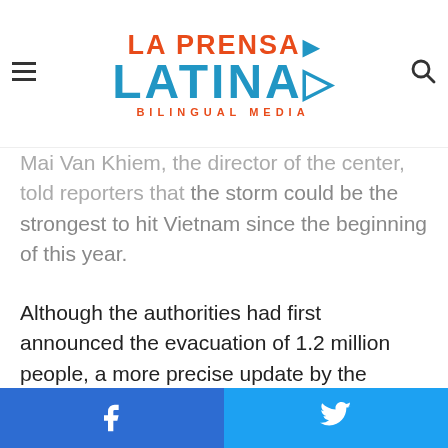La Prensa Latina Bilingual Media — navigation header with logo, hamburger menu, and search icon
Mai Van Khiem, the director of the center, told reporters that the storm could be the strongest to hit Vietnam since the beginning of this year.
Although the authorities had first announced the evacuation of 1.2 million people, a more precise update by the meteorological service over the projected path of the typhoon led to the prioritized displacement of around 572,000 people from the areas most at risk.
Thousands of fishing boats have been moored on the shores of the Quang Nam, Quang Ngai and Binh Dinh provinces, where classes have also been suspended in educational
Facebook share | Twitter share